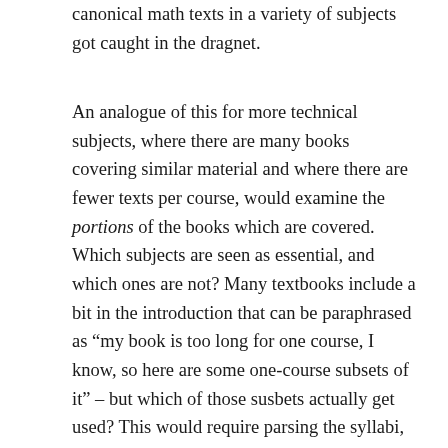canonical math texts in a variety of subjects got caught in the dragnet.
An analogue of this for more technical subjects, where there are many books covering similar material and where there are fewer texts per course, would examine the portions of the books which are covered. Which subjects are seen as essential, and which ones are not? Many textbooks include a bit in the introduction that can be paraphrased as “my book is too long for one course, I know, so here are some one-course subsets of it” – but which of those susbets actually get used? This would require parsing the syllabi, and is perhaps feasible (and maybe the folks at the OSP are thinking about it). This is very much the sort of thing I would have liked to see when I was planning new courses, and